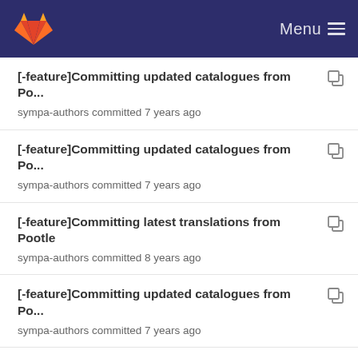Menu
[-feature]Committing updated catalogues from Po...
sympa-authors committed 7 years ago
[-feature]Committing updated catalogues from Po...
sympa-authors committed 7 years ago
[-feature]Committing latest translations from Pootle
sympa-authors committed 8 years ago
[-feature]Committing updated catalogues from Po...
sympa-authors committed 7 years ago
[-feature]Committing updated catalogues from Po...
sympa-authors committed 7 years ago
Adding Catalan, Indonesian and Korean to Sympa (a...
david.verdin committed 14 years ago